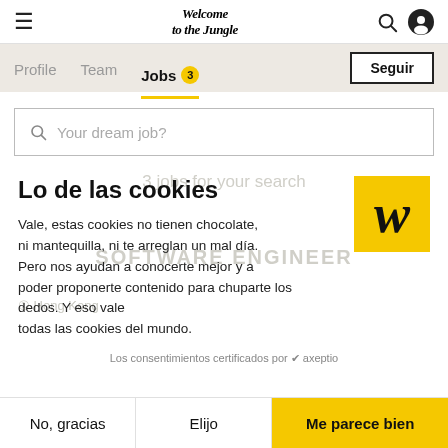Welcome to the Jungle — navigation bar with hamburger menu, logo, search and profile icons
Profile   Team   Jobs 3   Seguir
Your dream job?
Lo de las cookies
Vale, estas cookies no tienen chocolate, ni mantequilla, ni te arreglan un mal día. Pero nos ayudan a conocerte mejor y a poder proponerte contenido para chuparte los dedos. Y eso vale todas las cookies del mundo.
Los consentimientos certificados por axeptio
No, gracias   Elijo   Me parece bien